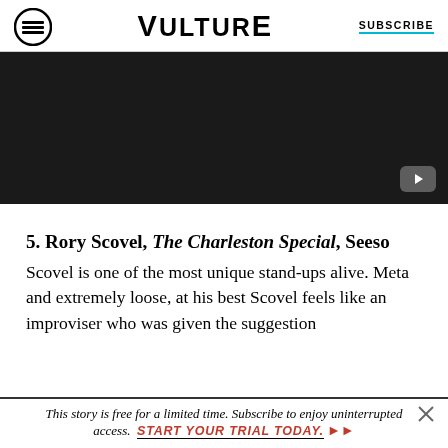VULTURE | SUBSCRIBE
[Figure (screenshot): Dark video player area with a play button in the bottom right corner]
5. Rory Scovel, The Charleston Special, Seeso
Scovel is one of the most unique stand-ups alive. Meta and extremely loose, at his best Scovel feels like an improviser who was given the suggestion
This story is free for a limited time. Subscribe to enjoy uninterrupted access. START YOUR TRIAL TODAY.